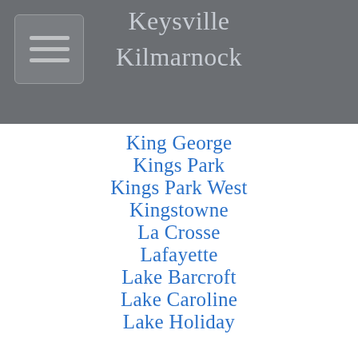Keysville
Kilmarnock
King George
Kings Park
Kings Park West
Kingstowne
La Crosse
Lafayette
Lake Barcroft
Lake Caroline
Lake Holiday